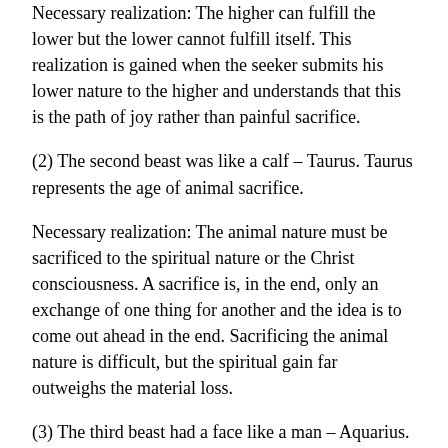Necessary realization: The higher can fulfill the lower but the lower cannot fulfill itself. This realization is gained when the seeker submits his lower nature to the higher and understands that this is the path of joy rather than painful sacrifice.
(2) The second beast was like a calf – Taurus. Taurus represents the age of animal sacrifice.
Necessary realization: The animal nature must be sacrificed to the spiritual nature or the Christ consciousness. A sacrifice is, in the end, only an exchange of one thing for another and the idea is to come out ahead in the end. Sacrificing the animal nature is difficult, but the spiritual gain far outweighs the material loss.
(3) The third beast had a face like a man – Aquarius.
Necessary realization: Once the ego and lower desires are under control of spirit then the lower self will be used in the service of humanity.